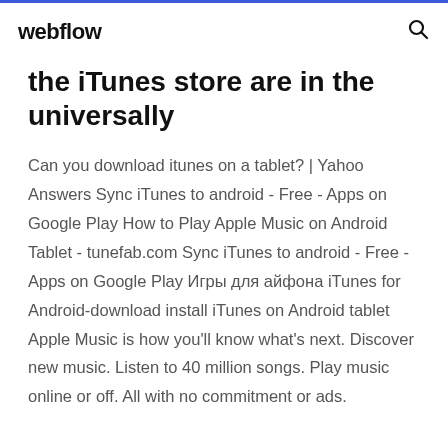webflow
the iTunes store are in the universally
Can you download itunes on a tablet? | Yahoo Answers Sync iTunes to android - Free - Apps on Google Play How to Play Apple Music on Android Tablet - tunefab.com Sync iTunes to android - Free - Apps on Google Play Игры для айфона iTunes for Android-download install iTunes on Android tablet Apple Music is how you'll know what's next. Discover new music. Listen to 40 million songs. Play music online or off. All with no commitment or ads.